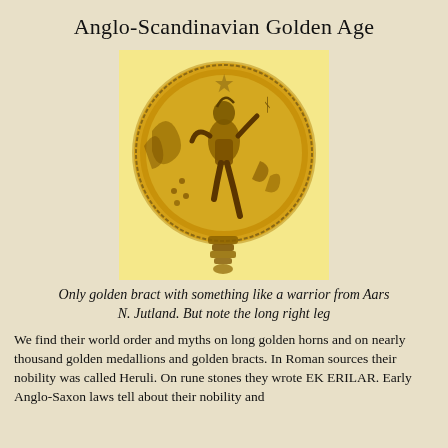Anglo-Scandinavian Golden Age
[Figure (photo): A golden bract medallion depicting a warrior figure with a long right leg, from Aars N. Jutland. The coin is circular with ornate border, shown against a pale yellow background.]
Only golden bract with something like a warrior from Aars N. Jutland. But note the long right leg
We find their world order and myths on long golden horns and on nearly thousand golden medallions and golden bracts. In Roman sources their nobility was called Heruli. On rune stones they wrote EK ERILAR. Early Anglo-Saxon laws tell about their nobility and